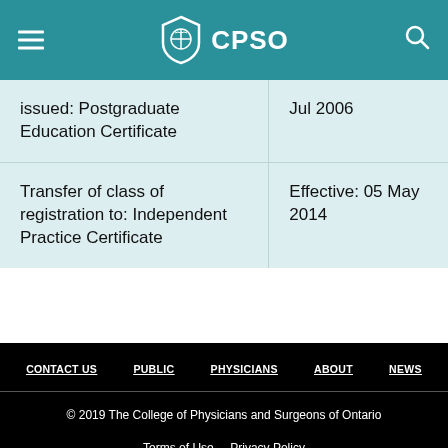CPSO
| Description | Date |
| --- | --- |
| issued: Postgraduate Education Certificate | Jul 2006 |
| Transfer of class of registration to: Independent Practice Certificate | Effective: 05 May 2014 |
CONTACT US  PUBLIC  PHYSICIANS  ABOUT  NEWS
© 2019 The College of Physicians and Surgeons of Ontario
Terms of Use  Privacy Policy